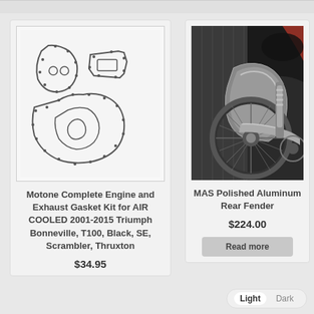[Figure (illustration): Line drawing of engine and exhaust gasket kit parts showing multiple gasket shapes on light gray background]
Motone Complete Engine and Exhaust Gasket Kit for AIR COOLED 2001-2015 Triumph Bonneville, T100, Black, SE, Scrambler, Thruxton
$34.95
[Figure (photo): Photo of motorcycle rear section showing polished aluminum rear fender, rear wheel, suspension and exhaust]
MAS Polished Aluminum Rear Fender
$224.00
Read more
Light Dark